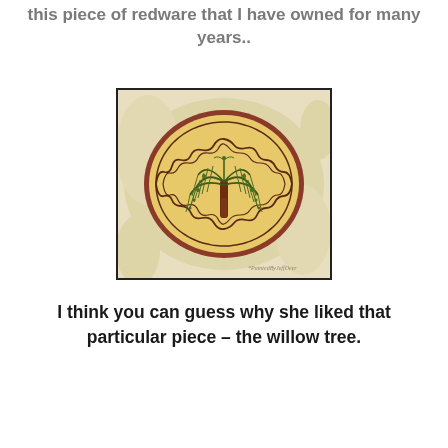this piece of redware that I have owned for many years..
[Figure (photo): A round redware plate with a cream/yellow glaze, decorated with a willow tree motif in the center surrounded by a wavy circular border. The plate sits on cream-colored fabric. A small handwritten signature is visible in the lower right.]
I think you can guess why she liked that particular piece – the willow tree.